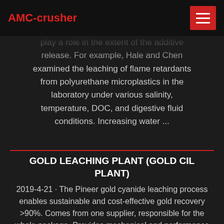AMC-crusher
play a role in the extent of the additive release. For example, Hale and Chen examined the leaching of flame retardants from polyurethane microplastics in the laboratory under various salinity, temperature, DOC, and digestive fluid conditions. Increasing water ...
GOLD LEACHING PLANT (GOLD CIL PLANT)
2019-4-21 · The Pineer gold cyanide leaching process enables sustainable and cost-effective gold recovery >90%. Comes from one supplier, responsible for the whole package. Provides mechanical and performance guarantees for the entire plant unit, with clear battery limits for engineering and implementation. Provides optimal